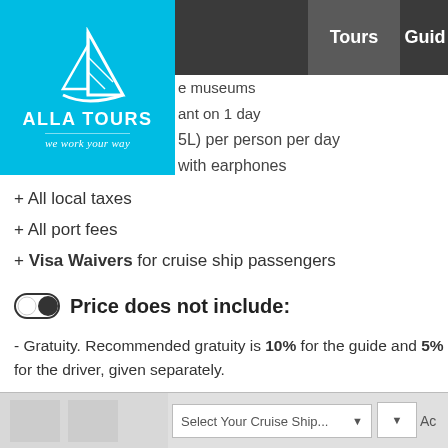[Figure (logo): Alla Tours logo with sailboat icon, cyan/blue background, white text 'ALLA TOURS' and tagline 'we work your way']
e museums
ant on 1 day
5L) per person per day
with earphones
+ All local taxes
+ All port fees
+ Visa Waivers for cruise ship passengers
Price does not include:
- Gratuity. Recommended gratuity is 10% for the guide and 5% for the driver, given separately.